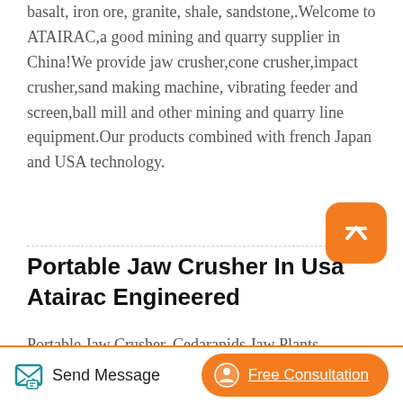basalt, iron ore, granite, shale, sandstone,.Welcome to ATAIRAC,a good mining and quarry supplier in China!We provide jaw crusher,cone crusher,impact crusher,sand making machine, vibrating feeder and screen,ball mill and other mining and quarry line equipment.Our products combined with french Japan and USA technology.
[Figure (other): Orange rounded square button with a white upward chevron/caret icon, used as a scroll-to-top or navigation button.]
Portable Jaw Crusher In Usa Atairac Engineered
Portable Jaw Crusher. Cedarapids Jaw Plants combine the rugged reliability of the our jaw
[Figure (other): Bottom navigation bar with a teal 'Send Message' button with pen icon on the left and an orange pill-shaped 'Free Consultation' button with headset icon on the right.]